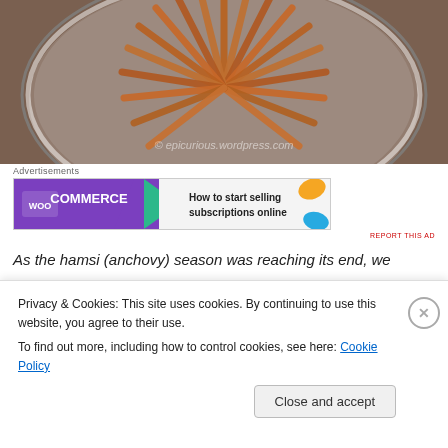[Figure (photo): Overhead photo of fried anchovies (hamsi) arranged in a circular fan pattern on a white and blue decorative plate. The fish are golden-brown and crispy. Watermark reads '© epicurious.wordpress.com'.]
Advertisements
[Figure (other): WooCommerce advertisement banner. Left side purple with WooCommerce logo and green arrow shape. Right side light gray reads 'How to start selling subscriptions online' with orange and blue decorative shapes.]
REPORT THIS AD
As the hamsi (anchovy) season was reaching its end, we
Privacy & Cookies: This site uses cookies. By continuing to use this website, you agree to their use.
To find out more, including how to control cookies, see here: Cookie Policy
Close and accept